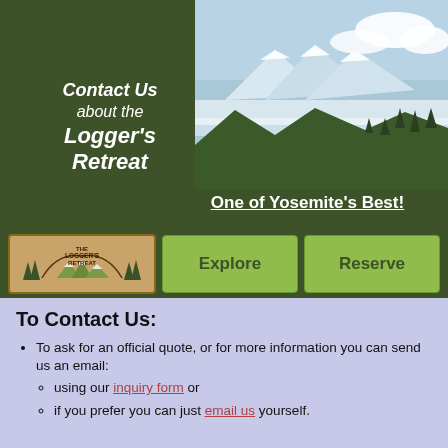[Figure (photo): Snow-capped mountain with fog and evergreen trees, Yosemite area landscape]
Contact Us about the Logger's Retreat
One of Yosemite's Best!
[Figure (logo): The Logger's Retreat logo with trees and mountains]
Explore
Reserve
To Contact Us:
To ask for an official quote, or for more information you can send us an email:
using our inquiry form or
if you prefer you can just email us yourself.